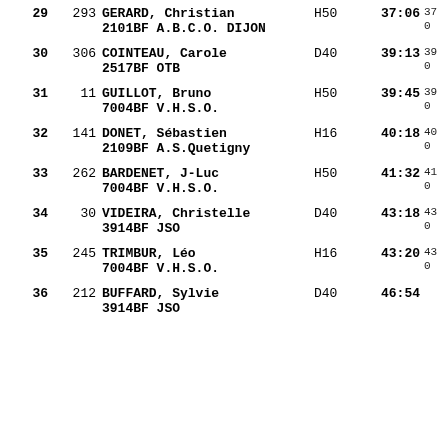29  293 GERARD, Christian  H50  37:06  2101BF A.B.C.O. DIJON
30  306 COINTEAU, Carole  D40  39:13  2517BF OTB
31  11 GUILLOT, Bruno  H50  39:45  7004BF V.H.S.O.
32  141 DONET, Sébastien  H16  40:18  2109BF A.S.Quetigny
33  262 BARDENET, J-Luc  H50  41:32  7004BF V.H.S.O.
34  30 VIDEIRA, Christelle  D40  43:18  3914BF JSO
35  245 TRIMBUR, Léo  H16  43:20  7004BF V.H.S.O.
36  212 BUFFARD, Sylvie  D40  46:54  3914BF JSO